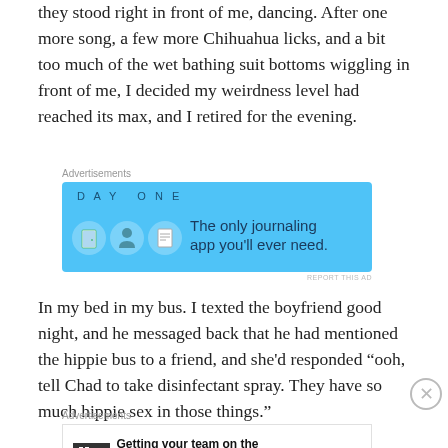they stood right in front of me, dancing. After one more song, a few more Chihuahua licks, and a bit too much of the wet bathing suit bottoms wiggling in front of me, I decided my weirdness level had reached its max, and I retired for the evening.
[Figure (other): Advertisement banner for Day One journaling app with blue background, app icons, and text 'The only journaling app you'll ever need.']
In my bed in my bus. I texted the boyfriend good night, and he messaged back that he had mentioned the hippie bus to a friend, and she’d responded “ooh, tell Chad to take disinfectant spray. They have so much hippie sex in those things.”
[Figure (other): Advertisement for P2 app with logo and text 'Getting your team on the same page is easy. And free.']